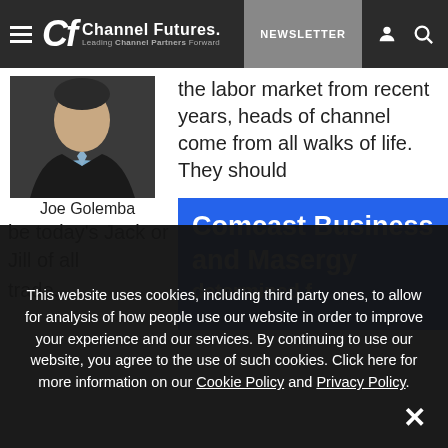Channel Futures — Leading Channel Partners Forward | NEWSLETTER
[Figure (photo): Headshot of Joe Golemba, a man in a dark suit with light blue shirt]
Joe Golemba
the labor market from recent years, heads of channel come from all walks of life. They should be today's Jack or Jill of all
[Figure (advertisement): Blue advertisement banner reading 'Comcast Business and Masergy' with additional text cut off]
This website uses cookies, including third party ones, to allow for analysis of how people use our website in order to improve your experience and our services. By continuing to use our website, you agree to the use of such cookies. Click here for more information on our Cookie Policy and Privacy Policy.